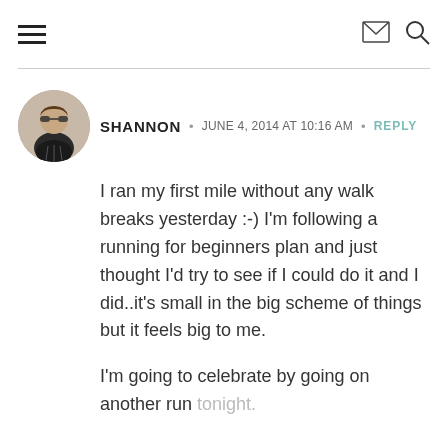navigation header with hamburger menu, mail icon, and search icon
SHANNON · JUNE 4, 2014 AT 10:16 AM · REPLY
I ran my first mile without any walk breaks yesterday :-) I'm following a running for beginners plan and just thought I'd try to see if I could do it and I did..it's small in the big scheme of things but it feels big to me.
I'm going to celebrate by going on another run tonight.